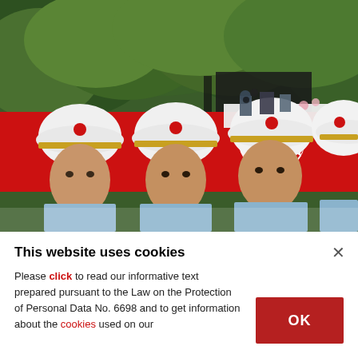[Figure (photo): Military honor guard soldiers in white helmets with gold bands carrying a flag-draped coffin covered with a red and white Turkish flag. Green trees visible in background with photographers. Soldiers wearing light blue uniforms.]
This website uses cookies
Please click to read our informative text prepared pursuant to the Law on the Protection of Personal Data No. 6698 and to get information about the cookies used on our